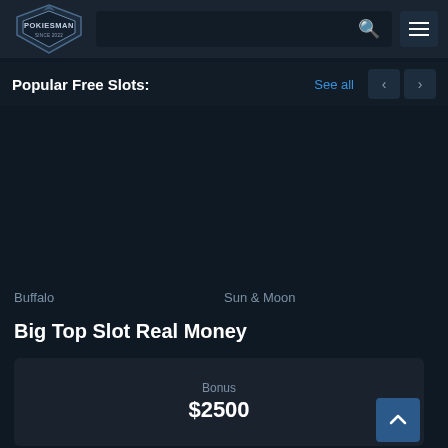Pokiesman — navigation bar with logo, search bar, and menu icon
Popular Free Slots:
See all
[Figure (screenshot): Empty game card area for free slots carousel]
Buffalo
Sun & Moon
Big Top Slot Real Money
Bonus $2500